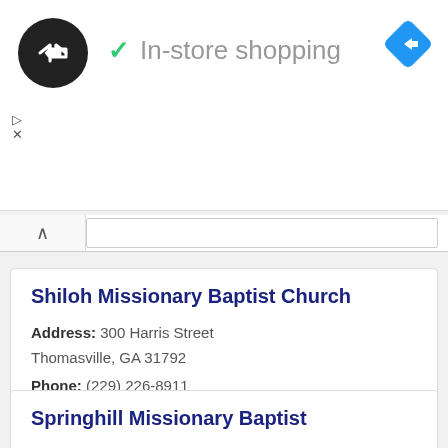[Figure (screenshot): Ad banner with circular logo, checkmark, 'In-store shopping' text, and blue direction icon]
In-store shopping
Shiloh Missionary Baptist Church
Address: 300 Harris Street Thomasville, GA 31792
Phone: (229) 226-8911
» More Info
Springhill Missionary Baptist
Address: 4293 Hall Road Thomasville, GA 31757
Phone: (229) 228-6557